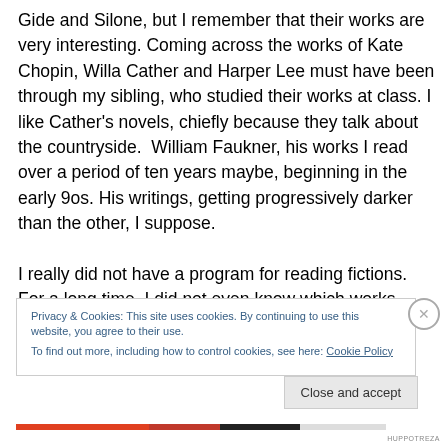Gide and Silone, but I remember that their works are very interesting. Coming across the works of Kate Chopin, Willa Cather and Harper Lee must have been through my sibling, who studied their works at class. I like Cather's novels, chiefly because they talk about the countryside.  William Faukner, his works I read over a period of ten years maybe, beginning in the early 9os. His writings, getting progressively darker than the other, I suppose.

I really did not have a program for reading fictions. For a long time, I did not even know which works were
Privacy & Cookies: This site uses cookies. By continuing to use this website, you agree to their use.
To find out more, including how to control cookies, see here: Cookie Policy